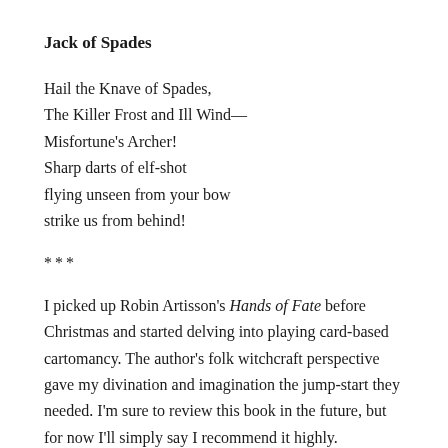Jack of Spades
Hail the Knave of Spades,
The Killer Frost and Ill Wind—
Misfortune's Archer!
Sharp darts of elf-shot
flying unseen from your bow
strike us from behind!
***
I picked up Robin Artisson's Hands of Fate before Christmas and started delving into playing card-based cartomancy. The author's folk witchcraft perspective gave my divination and imagination the jump-start they needed. I'm sure to review this book in the future, but for now I'll simply say I recommend it highly.